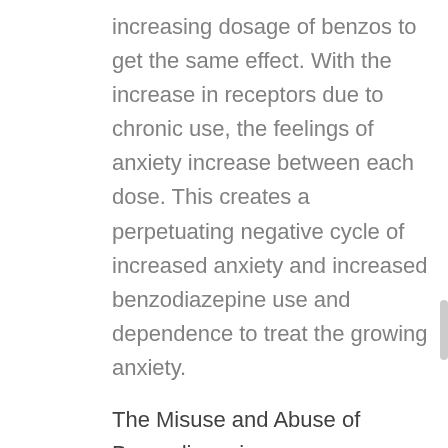increasing dosage of benzos to get the same effect. With the increase in receptors due to chronic use, the feelings of anxiety increase between each dose. This creates a perpetuating negative cycle of increased anxiety and increased benzodiazepine use and dependence to treat the growing anxiety.
The Misuse and Abuse of Benzodiazepines
As many as one in eight adults within the United States used benzodiazepines in 2018. Of these adults who use benzodiazepines, over 17% of overall use is classified as misuse. Young adults of ages 18 to 25